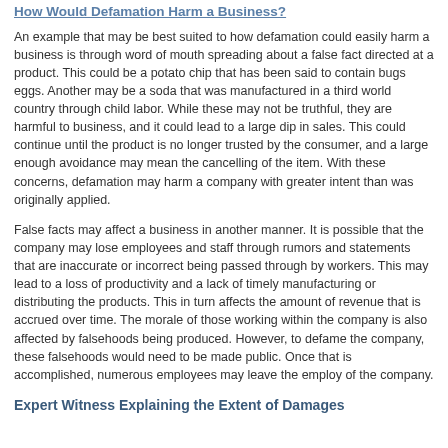How Would Defamation Harm a Business?
An example that may be best suited to how defamation could easily harm a business is through word of mouth spreading about a false fact directed at a product. This could be a potato chip that has been said to contain bugs eggs. Another may be a soda that was manufactured in a third world country through child labor. While these may not be truthful, they are harmful to business, and it could lead to a large dip in sales. This could continue until the product is no longer trusted by the consumer, and a large enough avoidance may mean the cancelling of the item. With these concerns, defamation may harm a company with greater intent than was originally applied.
False facts may affect a business in another manner. It is possible that the company may lose employees and staff through rumors and statements that are inaccurate or incorrect being passed through by workers. This may lead to a loss of productivity and a lack of timely manufacturing or distributing the products. This in turn affects the amount of revenue that is accrued over time. The morale of those working within the company is also affected by falsehoods being produced. However, to defame the company, these falsehoods would need to be made public. Once that is accomplished, numerous employees may leave the employ of the company.
Expert Witness Explaining the Extent of Damages